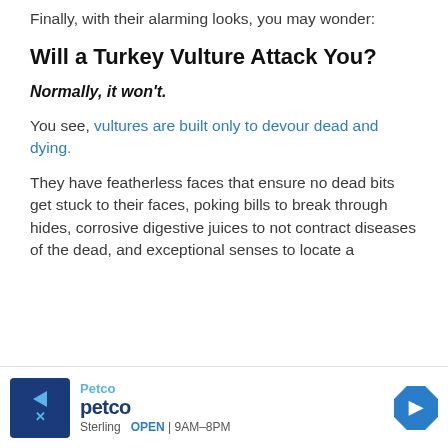Finally, with their alarming looks, you may wonder:
Will a Turkey Vulture Attack You?
Normally, it won't.
You see, vultures are built only to devour dead and dying.
They have featherless faces that ensure no dead bits get stuck to their faces, poking bills to break through hides, corrosive digestive juices to not contract diseases of the dead, and exceptional senses to locate a
[Figure (screenshot): Petco advertisement banner showing Petco logo, store name, location Sterling, and hours OPEN 9AM-8PM with navigation arrow icon]